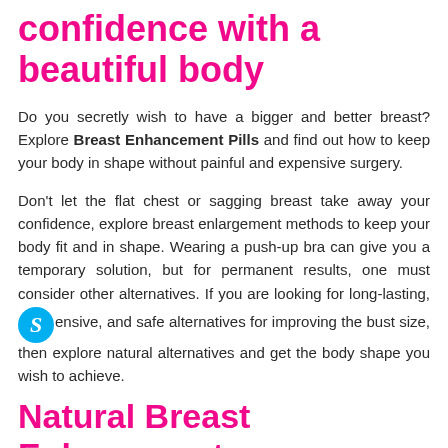confidence with a beautiful body
Do you secretly wish to have a bigger and better breast? Explore Breast Enhancement Pills and find out how to keep your body in shape without painful and expensive surgery.
Don't let the flat chest or sagging breast take away your confidence, explore breast enlargement methods to keep your body fit and in shape. Wearing a push-up bra can give you a temporary solution, but for permanent results, one must consider other alternatives. If you are looking for long-lasting, inexpensive, and safe alternatives for improving the bust size, then explore natural alternatives and get the body shape you wish to achieve.
Natural Breast Enlargement